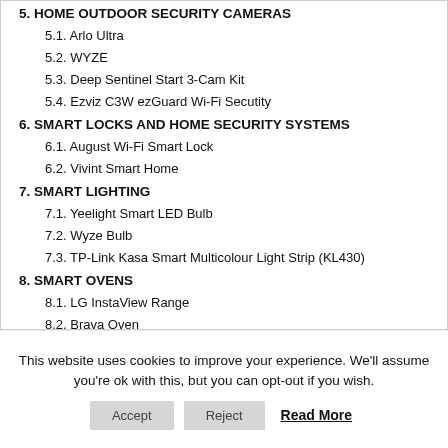5. HOME OUTDOOR SECURITY CAMERAS
5.1. Arlo Ultra
5.2. WYZE
5.3. Deep Sentinel Start 3-Cam Kit
5.4. Ezviz C3W ezGuard Wi-Fi Secutity
6. SMART LOCKS AND HOME SECURITY SYSTEMS
6.1. August Wi-Fi Smart Lock
6.2. Vivint Smart Home
7. SMART LIGHTING
7.1. Yeelight Smart LED Bulb
7.2. Wyze Bulb
7.3. TP-Link Kasa Smart Multicolour Light Strip (KL430)
8. SMART OVENS
8.1. LG InstaView Range
8.2. Brava Oven
This website uses cookies to improve your experience. We'll assume you're ok with this, but you can opt-out if you wish.